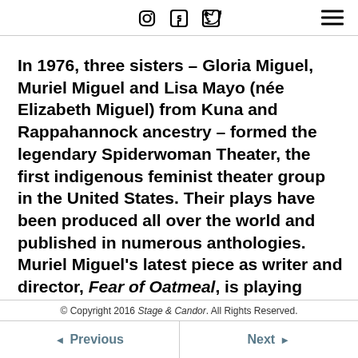[Social icons: Instagram, Facebook, Twitter] [Hamburger menu]
In 1976, three sisters – Gloria Miguel, Muriel Miguel and Lisa Mayo (née Elizabeth Miguel) from Kuna and Rappahannock ancestry – formed the legendary Spiderwoman Theater, the first indigenous feminist theater group in the United States. Their plays have been produced all over the world and published in numerous anthologies. Muriel Miguel's latest piece as writer and director, Fear of Oatmeal, is playing through June 24 at Theater for a New City. An elder Native woman (played by Muriel's sister Gloria) sits at her colorful
© Copyright 2016 Stage & Candor. All Rights Reserved.
◄ Previous    Next ►